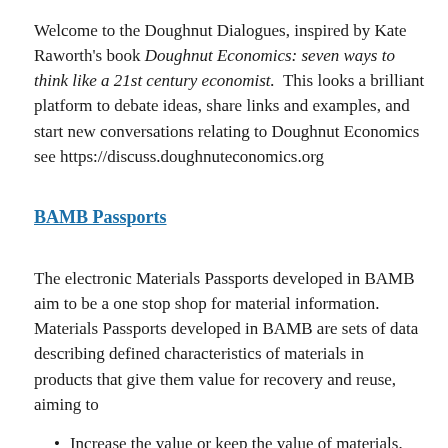Welcome to the Doughnut Dialogues, inspired by Kate Raworth's book Doughnut Economics: seven ways to think like a 21st century economist. This looks a brilliant platform to debate ideas, share links and examples, and start new conversations relating to Doughnut Economics see https://discuss.doughnuteconomics.org
BAMB Passports
The electronic Materials Passports developed in BAMB aim to be a one stop shop for material information. Materials Passports developed in BAMB are sets of data describing defined characteristics of materials in products that give them value for recovery and reuse, aiming to
Increase the value or keep the value of materials, products and components over time